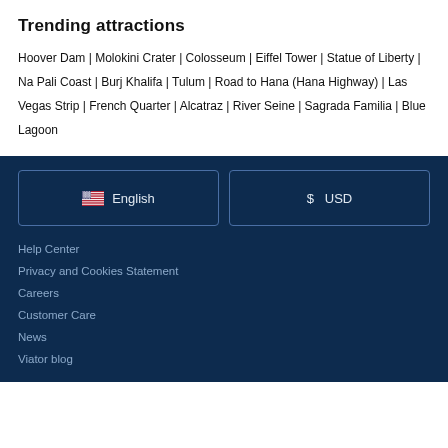Trending attractions
Hoover Dam | Molokini Crater | Colosseum | Eiffel Tower | Statue of Liberty | Na Pali Coast | Burj Khalifa | Tulum | Road to Hana (Hana Highway) | Las Vegas Strip | French Quarter | Alcatraz | River Seine | Sagrada Familia | Blue Lagoon
🇺🇸 English
$ USD
Help Center
Privacy and Cookies Statement
Careers
Customer Care
News
Viator blog